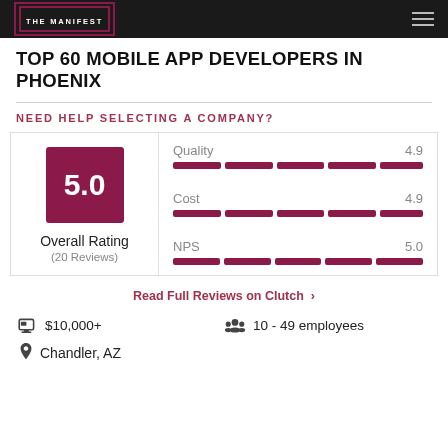THE MANIFEST
TOP 60 MOBILE APP DEVELOPERS IN PHOENIX
NEED HELP SELECTING A COMPANY?
5.0 Overall Rating (20 Reviews) Quality 4.9 Cost 4.9 NPS 5.0
Read Full Reviews on Clutch >
$10,000+   10 - 49 employees
Chandler, AZ